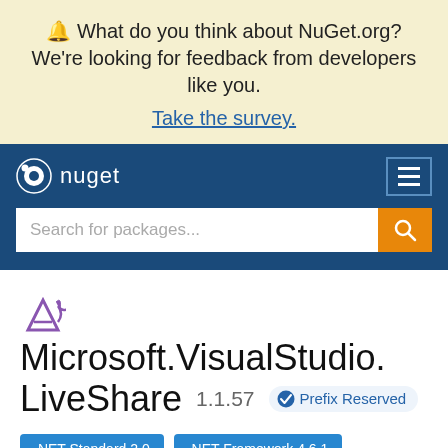🔔 What do you think about NuGet.org? We're looking for feedback from developers like you. Take the survey.
[Figure (logo): NuGet logo and navigation bar with hamburger menu]
Search for packages...
Microsoft.VisualStudio.LiveShare  1.1.57  ✔ Prefix Reserved
.NET Standard 2.0   .NET Framework 4.6.1
Package Manager   .NET CLI   PackageReference